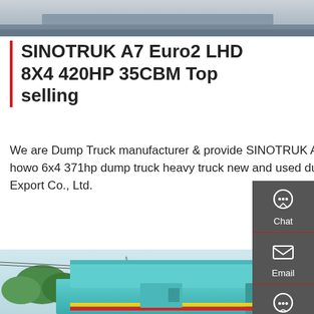[Figure (photo): Top portion of a truck/vehicle photo, partial view]
SINOTRUK A7 Euro2 LHD 8X4 420HP 35CBM Top selling
We are Dump Truck manufacturer & provide SINOTRUK A7 Euro2 LHD 8X4 420HP 35CBM Top selling sinotruk howo 6x4 371hp dump truck heavy truck new and used dump truck - Hubei Zhongzhong Huawei import and Export Co., Ltd.
Get a Quote
[Figure (photo): Teal/turquoise dump truck photographed from behind/side, showing the raised dump bed, parked near trees and power lines]
[Figure (infographic): Right-side floating navigation panel with Chat, Email, Contact, and Top buttons on dark gray background]